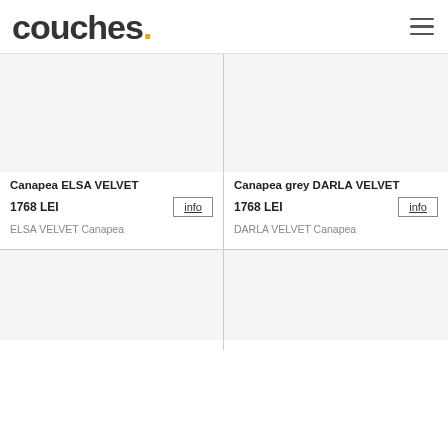couches.
Canapea ELSA VELVET
1768 LEI
ELSA VELVET Canapea
Canapea grey DARLA VELVET
1768 LEI
DARLA VELVET Canapea